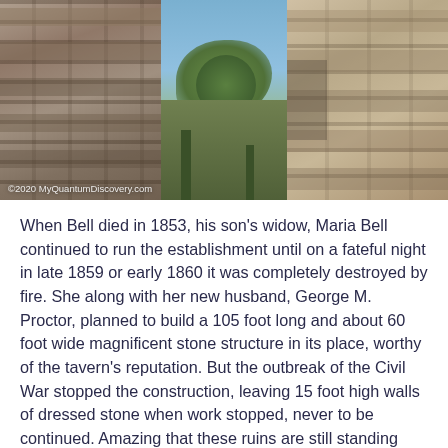[Figure (photo): Three-panel photo strip showing stone ruins: left panel shows close-up of stacked stone wall, center panel shows stone wall fragments with trees and blue sky in background, right panel shows another close-up of large stone blocks. Watermark reads ©2020 MyQuantumDiscovery.com]
When Bell died in 1853, his son's widow, Maria Bell continued to run the establishment until on a fateful night in late 1859 or early 1860 it was completely destroyed by fire. She along with her new husband, George M. Proctor, planned to build a 105 foot long and about 60 foot wide magnificent stone structure in its place, worthy of the tavern's reputation. But the outbreak of the Civil War stopped the construction, leaving 15 foot high walls of dressed stone when work stopped, never to be continued. Amazing that these ruins are still standing 150 years later! Today the site is maintained by the National Park Service and signs warn people not to climb on the stones.
A day later it was time for us to say goodbye to Cave City